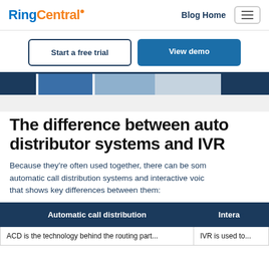RingCentral | Blog Home
Start a free trial | View demo
[Figure (screenshot): Partial screenshot of a RingCentral interface showing a dark navy, blue, and gray tab/panel UI strip]
The difference between automatic call distributor systems and IVR
Because they're often used together, there can be some confusion about automatic call distribution systems and interactive voice response. Here's a table that shows key differences between them:
| Automatic call distribution | Interactive voice response (IVR) |
| --- | --- |
| ACD is the technology behind the routing part... | IVR is used to... |